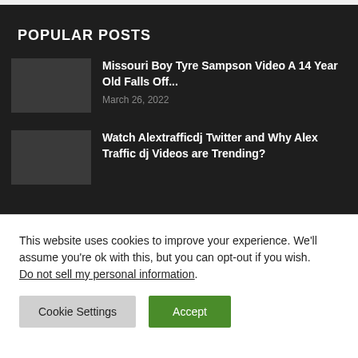POPULAR POSTS
Missouri Boy Tyre Sampson Video A 14 Year Old Falls Off... — March 26, 2022
Watch Alextrafficdj Twitter and Why Alex Traffic dj Videos are Trending?
This website uses cookies to improve your experience. We'll assume you're ok with this, but you can opt-out if you wish. Do not sell my personal information.
Cookie Settings | Accept